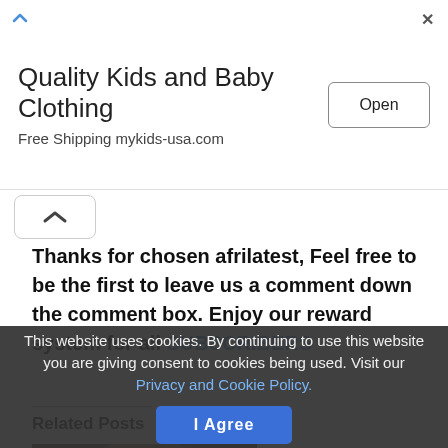[Figure (screenshot): Advertisement banner for Quality Kids and Baby Clothing with Open button]
Thanks for chosen afrilatest, Feel free to be the first to leave us a comment down the comment box. Enjoy our reward system for all SUBSCRIBERS
Related Posts
[Figure (photo): Photo of a man (Elon Musk) at an event with crowd in background]
This website uses cookies. By continuing to use this website you are giving consent to cookies being used. Visit our Privacy and Cookie Policy.